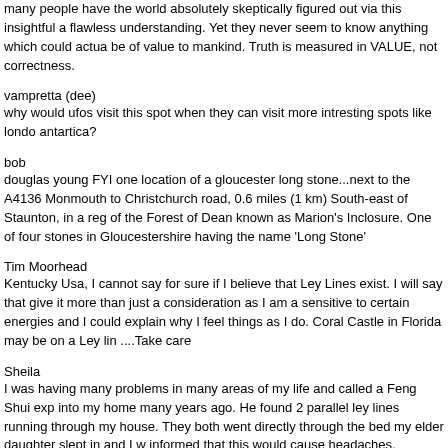many people have the world absolutely skeptically figured out via this insightful and flawless understanding. Yet they never seem to know anything which could actually be of value to mankind. Truth is measured in VALUE, not correctness.
vampretta (dee)
why would ufos visit this spot when they can visit more intresting spots like london or antartica?
bob
douglas young FYI one location of a gloucester long stone...next to the A4136 Monmouth to Christchurch road, 0.6 miles (1 km) South-east of Staunton, in a region of the Forest of Dean known as Marion's Inclosure. One of four stones in Gloucestershire having the name 'Long Stone'
Tim Moorhead
Kentucky Usa, I cannot say for sure if I believe that Ley Lines exist. I will say that I give it more than just a consideration as I am a sensitive to certain energies and it could explain why I feel things as I do. Coral Castle in Florida may be on a Ley line. ....Take care
Sheila
I was having many problems in many areas of my life and called a Feng Shui expert into my home many years ago. He found 2 parallel ley lines running through my house. They both went directly through the bed my elder daughter slept in and I was informed that this would cause headaches, insomnia and possibly mental illness. She had all of these, not just slightly but severely. Also the corner of the rooms were they enter the house - the plaster is badly cracked (its a new house)- none of the other walls are cracked. Nobody sleeps in that back bedroom now and my daughter (who lives elsewhere) is making a good recovery after loosing many years of her life and youth.